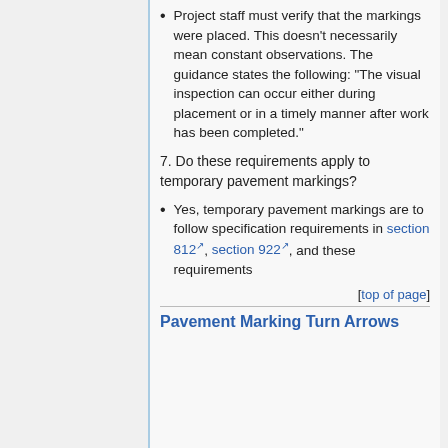Project staff must verify that the markings were placed. This doesn't necessarily mean constant observations. The guidance states the following: “The visual inspection can occur either during placement or in a timely manner after work has been completed.”
7. Do these requirements apply to temporary pavement markings?
Yes, temporary pavement markings are to follow specification requirements in section 812, section 922, and these requirements
[top of page]
Pavement Marking Turn Arrows